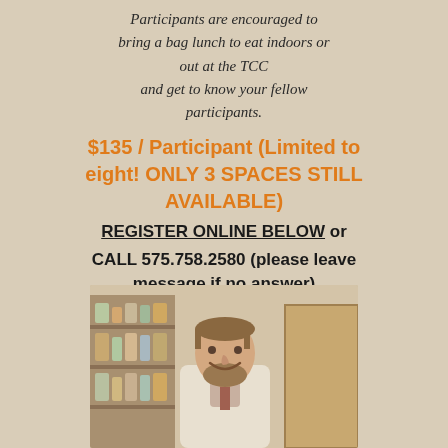Participants are encouraged to bring a bag lunch to eat indoors or out at the TCC and get to know your fellow participants.
$135 / Participant (Limited to eight! ONLY 3 SPACES STILL AVAILABLE)
REGISTER ONLINE BELOW or CALL 575.758.2580 (please leave message if no answer)
[Figure (photo): Photo of a smiling middle-aged man with a beard wearing a light-colored shirt, standing in front of shelves with jars and pantry items, and a wooden door visible to the right.]